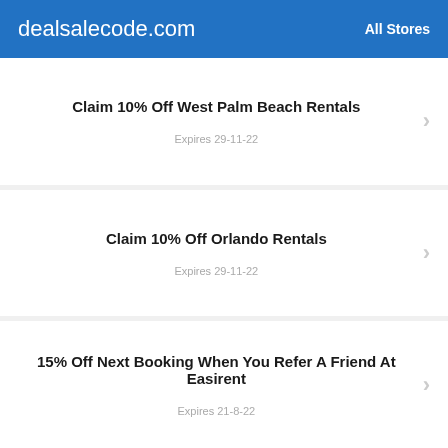dealsalecode.com  All Stores
Claim 10% Off West Palm Beach Rentals
Expires 29-11-22
Claim 10% Off Orlando Rentals
Expires 29-11-22
15% Off Next Booking When You Refer A Friend At Easirent
Expires 21-8-22